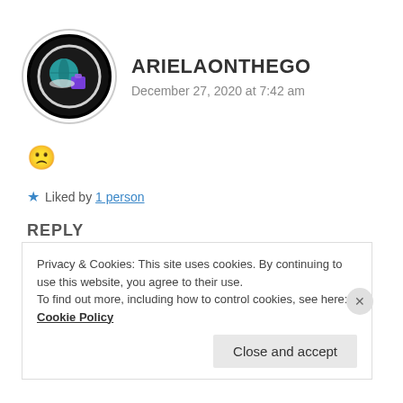[Figure (illustration): Circular avatar with black background and white glow ring, containing an illustration of a globe with purple and teal colors]
ARIELAONTHEGO
December 27, 2020 at 7:42 am
🙁
★ Liked by 1 person
REPLY
Privacy & Cookies: This site uses cookies. By continuing to use this website, you agree to their use.
To find out more, including how to control cookies, see here: Cookie Policy
Close and accept